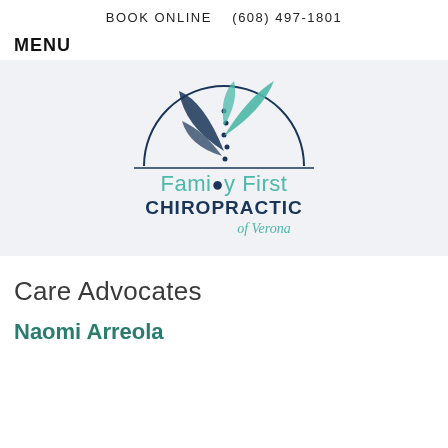BOOK ONLINE   (608) 497-1801
MENU
[Figure (logo): Family First Chiropractic of Verona logo: a stylized plant/spine illustration inside a circle arc, with the text 'Family First CHIROPRACTIC of Verona' in teal and dark navy colors.]
Care Advocates
Naomi Arreola